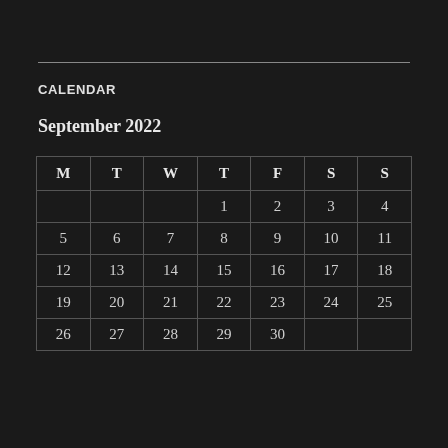CALENDAR
September 2022
| M | T | W | T | F | S | S |
| --- | --- | --- | --- | --- | --- | --- |
|  |  |  | 1 | 2 | 3 | 4 |
| 5 | 6 | 7 | 8 | 9 | 10 | 11 |
| 12 | 13 | 14 | 15 | 16 | 17 | 18 |
| 19 | 20 | 21 | 22 | 23 | 24 | 25 |
| 26 | 27 | 28 | 29 | 30 |  |  |